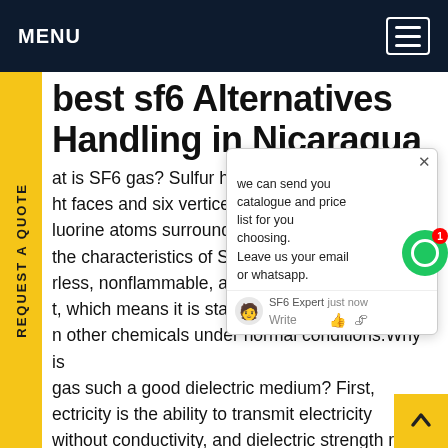MENU
best sf6 Alternatives Handling in Nicaragua
at is SF6 gas? Sulfur hexafluoride ... edral ht faces and six vertices) molec ... ts of luorine atoms surrounding a sulfu ... the characteristics of SF6 gas? S ... ess, rless, nonflammable, and no ... ally t, which means it is stable and d ... t n other chemicals under normal conditions. Why is gas such a good dielectric medium? First, ectricity is the ability to transmit electricity without conductivity, and dielectric strength refers to how well something can withstand high voltage without breaking down. What is the importance arc quenching in TD equipment? When switching or
[Figure (screenshot): Chat popup overlay showing message: 'we can send you catalogue and price list for you choosing. Leave us your email or whatsapp.' with SF6 Expert label and 'just now' timestamp, Write input and action buttons.]